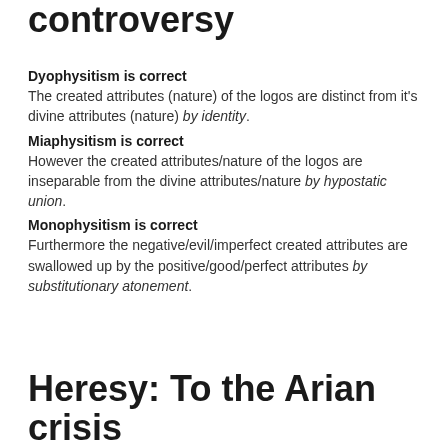controversy
Dyophysitism is correct
The created attributes (nature) of the logos are distinct from it's divine attributes (nature) by identity.
Miaphysitism is correct
However the created attributes/nature of the logos are inseparable from the divine attributes/nature by hypostatic union.
Monophysitism is correct
Furthermore the negative/evil/imperfect created attributes are swallowed up by the positive/good/perfect attributes by substitutionary atonement.
Heresy: To the Arian crisis